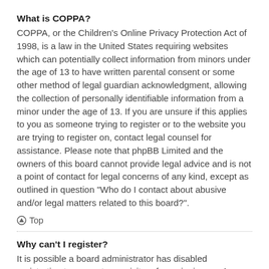What is COPPA?
COPPA, or the Children's Online Privacy Protection Act of 1998, is a law in the United States requiring websites which can potentially collect information from minors under the age of 13 to have written parental consent or some other method of legal guardian acknowledgment, allowing the collection of personally identifiable information from a minor under the age of 13. If you are unsure if this applies to you as someone trying to register or to the website you are trying to register on, contact legal counsel for assistance. Please note that phpBB Limited and the owners of this board cannot provide legal advice and is not a point of contact for legal concerns of any kind, except as outlined in question "Who do I contact about abusive and/or legal matters related to this board?".
Top
Why can't I register?
It is possible a board administrator has disabled registration to prevent new visitors from signing up. A board administrator could have also banned your IP address or disallowed the username you are attempting to register. Contact a board